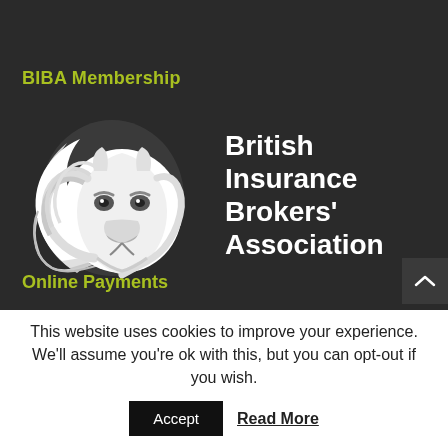BIBA Membership
[Figure (logo): British Insurance Brokers' Association logo — white lion head illustration alongside bold white text reading 'British Insurance Brokers' Association' on dark background]
Online Payments
This website uses cookies to improve your experience. We'll assume you're ok with this, but you can opt-out if you wish.
Accept   Read More